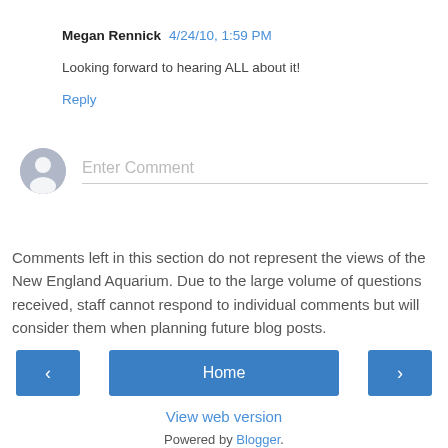Megan Rennick  4/24/10, 1:59 PM
Looking forward to hearing ALL about it!
Reply
[Figure (other): User avatar placeholder circle with silhouette icon and Enter Comment input field]
Comments left in this section do not represent the views of the New England Aquarium. Due to the large volume of questions received, staff cannot respond to individual comments but will consider them when planning future blog posts.
‹  Home  ›
View web version
Powered by Blogger.